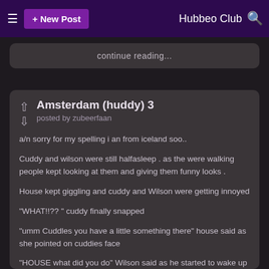≡  + New Post   Hubbeo Club 🔍
continue reading...
Amsterdam (huddy) 3
posted by zubeerfaan
a/n sorry for my spelling i an from iceland soo..
Cuddy and wilson were still halfasleep . as the were walking people kept looking at them and giving them funny looks .
House kept giggling and cuddy and Wilson were getting innoyed
"WHAT!!??" cuddy finally snapped
"umm Cuddles you have a little something there" house said as she pointed on cuddies face
"HOUSE what did you do" Wilson said as he started to wake up and saw the moustache on cuddies face
Cuddy walked as quickly as she could to the